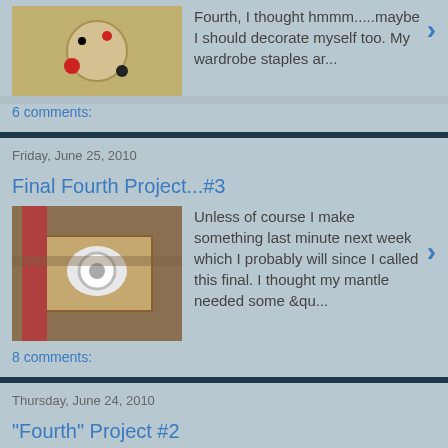Fourth, I thought hmmm.....maybe I should decorate myself too. My wardrobe staples ar...
6 comments:
Friday, June 25, 2010
Final Fourth Project...#3
Unless of course I make something last minute next week which I probably will since I called this final. I thought my mantle needed some &qu...
8 comments:
Thursday, June 24, 2010
"Fourth" Project #2
Welcome to those stopping in from  I hope you'll look around and make yourself at home. Virtual chocolates are calorie free! ...